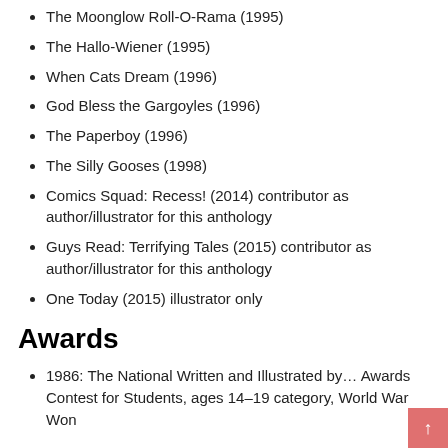The Moonglow Roll-O-Rama (1995)
The Hallo-Wiener (1995)
When Cats Dream (1996)
God Bless the Gargoyles (1996)
The Paperboy (1996)
The Silly Gooses (1998)
Comics Squad: Recess! (2014) contributor as author/illustrator for this anthology
Guys Read: Terrifying Tales (2015) contributor as author/illustrator for this anthology
One Today (2015) illustrator only
Awards
1986: The National Written and Illustrated by… Awards Contest for Students, ages 14–19 category, World War Won